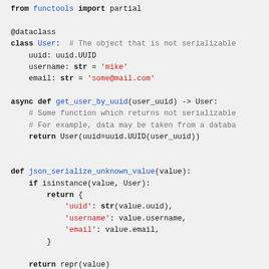from functools import partial

@dataclass
class User:  # The object that is not serializable
    uuid: uuid.UUID
    username: str = 'mike'
    email: str = 'some@mail.com'

async def get_user_by_uuid(user_uuid) -> User:
    # Some function which returns not serializable
    # For example, data may be taken from a databa
    return User(uuid=uuid.UUID(user_uuid))


def json_serialize_unknown_value(value):
    if isinstance(value, User):
        return {
            'uuid': str(value.uuid),
            'username': value.username,
            'email': value.email,
        }

    return repr(value)